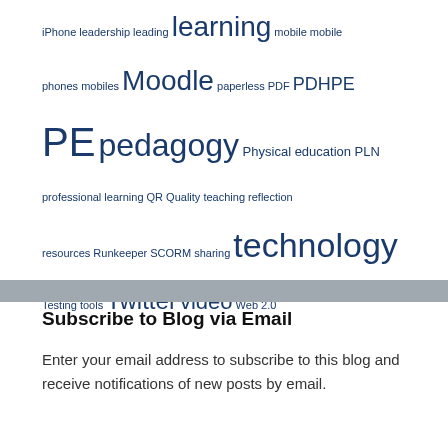iPhone leadership leading learning mobile mobile phones mobiles Moodle paperless PDF PDHPE PE pedagogy Physical education PLN professional learning QR Quality teaching reflection resources Runkeeper SCORM sharing technology Testing tools Twitter video Web 2.0
Subscribe to Blog via Email
Enter your email address to subscribe to this blog and receive notifications of new posts by email.